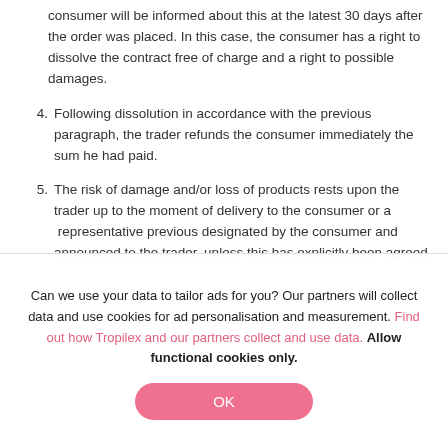consumer will be informed about this at the latest 30 days after the order was placed. In this case, the consumer has a right to dissolve the contract free of charge and a right to possible damages.
4. Following dissolution in accordance with the previous paragraph, the trader refunds the consumer immediately the sum he had paid.
5. The risk of damage and/or loss of products rests upon the trader up to the moment of delivery to the consumer or a  representative previous designated by the consumer and announced to the trader, unless this has explicitly been agreed
Can we use your data to tailor ads for you? Our partners will collect data and use cookies for ad personalisation and measurement. Find out how Tropilex and our partners collect and use data. Allow functional cookies only.